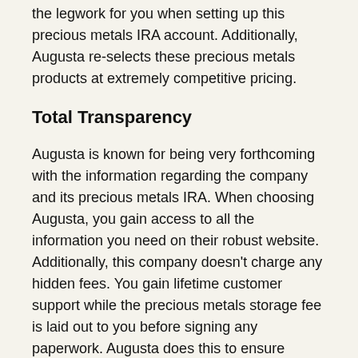the legwork for you when setting up this precious metals IRA account. Additionally, Augusta re-selects these precious metals products at extremely competitive pricing.
Total Transparency
Augusta is known for being very forthcoming with the information regarding the company and its precious metals IRA. When choosing Augusta, you gain access to all the information you need on their robust website. Additionally, this company doesn't charge any hidden fees. You gain lifetime customer support while the precious metals storage fee is laid out to you before signing any paperwork. Augusta does this to ensure you're aware of the total cost of investing in these silver and gold IRA accounts before